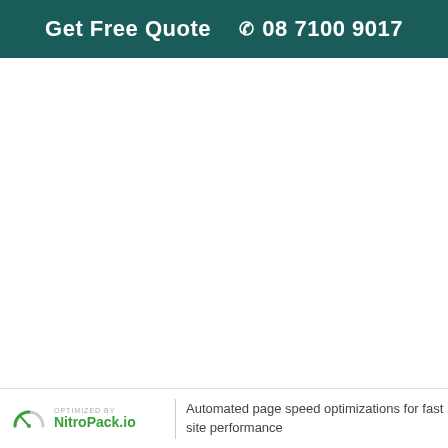Get Free Quote  ☎ 08 7100 9017
OPTIMIZED BY NitroPack.io | Automated page speed optimizations for fast site performance